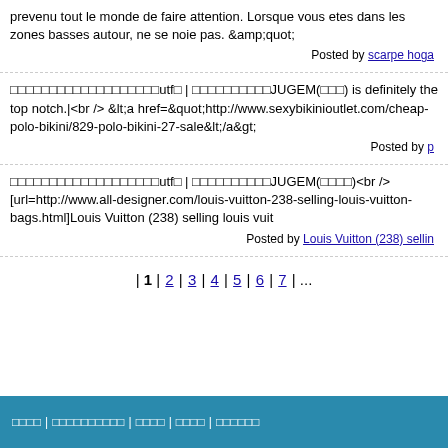prevenu tout le monde de faire attention. Lorsque vous etes dans les zones basses autour, ne se noie pas. &amp;quot;
Posted by scarpe hoga
□□□□□□□□□□□□□□□□□□□utf□ | □□□□□□□□□□JUGEM(□□□) is definitely the top notch.|<br /> &lt;a href=&quot;http://www.sexybikinioutlet.com/cheap-polo-bikini/829-polo-bikini-27-sale&lt;/a&gt;
Posted by p
□□□□□□□□□□□□□□□□□□□utf□ | □□□□□□□□□□JUGEM(□□□□)<br /> [url=http://www.all-designer.com/louis-vuitton-238-selling-louis-vuitton-bags.html]Louis Vuitton (238) selling louis vuit
Posted by Louis Vuitton (238) sellin
| 1 | 2 | 3 | 4 | 5 | 6 | 7 | ...
□□□□ | □□□□□□□□□□ | □□□□ | □□□□ | □□□□□□